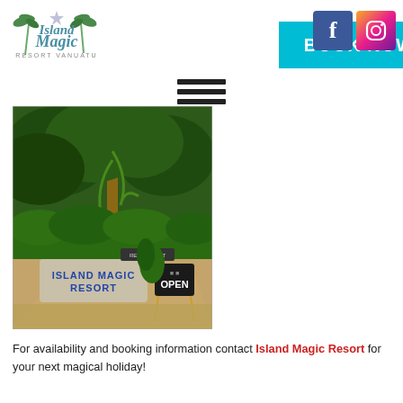[Figure (logo): Island Magic Resort Vanuatu logo with palm trees]
[Figure (other): BOOK NOW button in cyan/turquoise color]
[Figure (other): Facebook and Instagram social media icons]
[Figure (other): Hamburger menu icon (three horizontal bars)]
[Figure (photo): Photo of Island Magic Resort entrance sign with tropical greenery and an OPEN sign]
For availability and booking information contact Island Magic Resort for your next magical holiday!